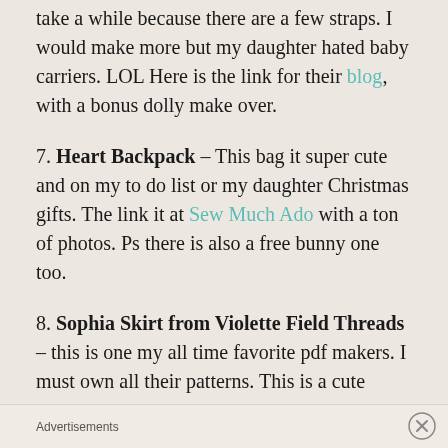take a while because there are a few straps. I would make more but my daughter hated baby carriers. LOL Here is the link for their blog, with a bonus dolly make over.
7. Heart Backpack – This bag it super cute and on my to do list or my daughter Christmas gifts. The link it at Sew Much Ado with a ton of photos. Ps there is also a free bunny one too.
8. Sophia Skirt from Violette Field Threads – this is one my all time favorite pdf makers. I must own all their patterns. This is a cute
Advertisements